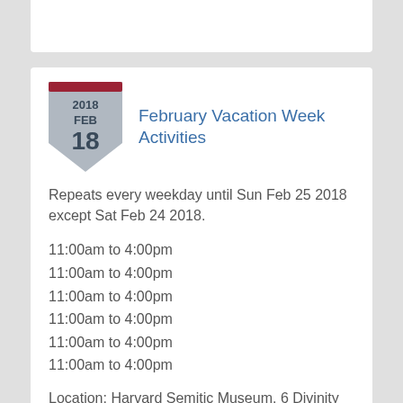February Vacation Week Activities
Repeats every weekday until Sun Feb 25 2018 except Sat Feb 24 2018.
11:00am to 4:00pm
11:00am to 4:00pm
11:00am to 4:00pm
11:00am to 4:00pm
11:00am to 4:00pm
11:00am to 4:00pm
Location: Harvard Semitic Museum, 6 Divinity Ave., Cambridge